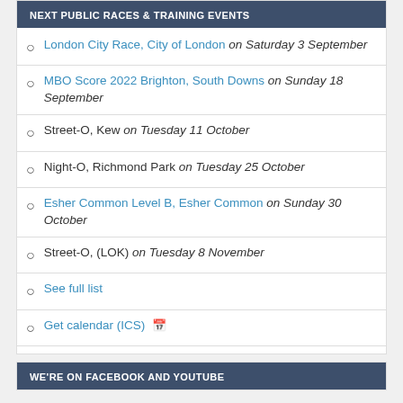NEXT PUBLIC RACES & TRAINING EVENTS
London City Race, City of London on Saturday 3 September
MBO Score 2022 Brighton, South Downs on Sunday 18 September
Street-O, Kew on Tuesday 11 October
Night-O, Richmond Park on Tuesday 25 October
Esher Common Level B, Esher Common on Sunday 30 October
Street-O, (LOK) on Tuesday 8 November
See full list
Get calendar (ICS) 📅
WE'RE ON FACEBOOK AND YOUTUBE